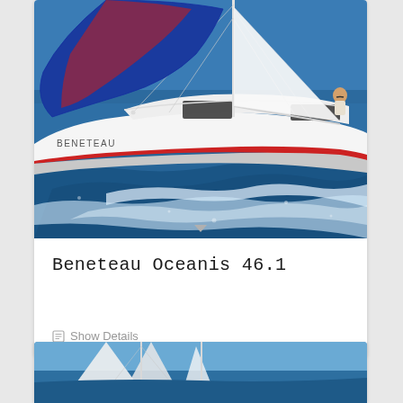[Figure (photo): Beneteau sailboat (Oceanis 46.1) sailing on blue ocean water with white sail and blue spinnaker, person visible on deck, white hull with red stripe, BENETEAU lettering on hull side]
Beneteau Oceanis 46.1
Show Details
[Figure (photo): Partial view of another sailing yacht with white sails against blue sky and water, bottom portion visible]